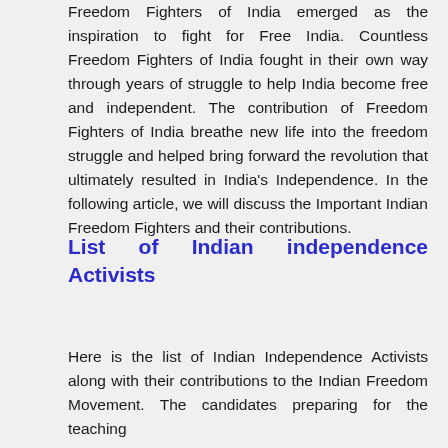Freedom Fighters of India emerged as the inspiration to fight for Free India. Countless Freedom Fighters of India fought in their own way through years of struggle to help India become free and independent. The contribution of Freedom Fighters of India breathe new life into the freedom struggle and helped bring forward the revolution that ultimately resulted in India's Independence. In the following article, we will discuss the Important Indian Freedom Fighters and their contributions.
List of Indian independence Activists
Here is the list of Indian Independence Activists along with their contributions to the Indian Freedom Movement. The candidates preparing for the teaching